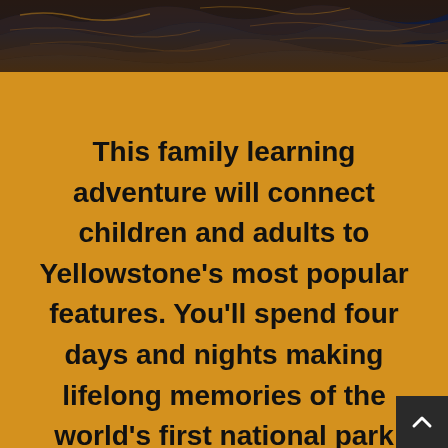[Figure (photo): A dark aerial or close-up photograph of rocky or wave-textured terrain, dark navy/brown tones with golden highlights, spanning the full width at the top of the page.]
This family learning adventure will connect children and adults to Yellowstone's most popular features. You'll spend four days and nights making lifelong memories of the world's first national park through